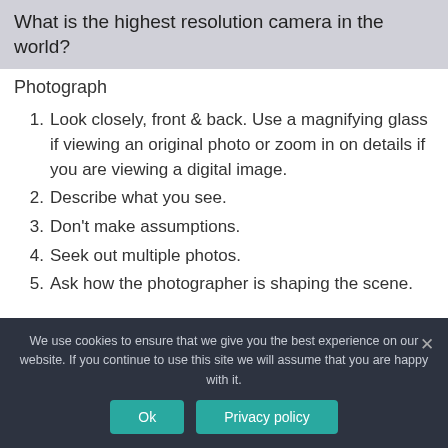What is the highest resolution camera in the world?
Photograph
Look closely, front & back. Use a magnifying glass if viewing an original photo or zoom in on details if you are viewing a digital image.
Describe what you see.
Don't make assumptions.
Seek out multiple photos.
Ask how the photographer is shaping the scene.
We use cookies to ensure that we give you the best experience on our website. If you continue to use this site we will assume that you are happy with it.